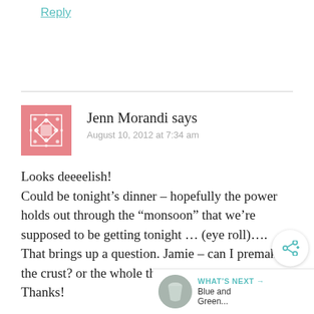Reply
Jenn Morandi says
August 10, 2012 at 7:34 am
Looks deeeelish!
Could be tonight’s dinner – hopefully the power holds out through the “monsoon” that we’re supposed to be getting tonight … (eye roll)….
That brings up a question. Jamie – can I premake the crust? or the whole thing?
Thanks!
[Figure (other): Share icon button (circular white button with share symbol)]
[Figure (other): What's Next widget showing a circular thumbnail image and text 'Blue and Green...']